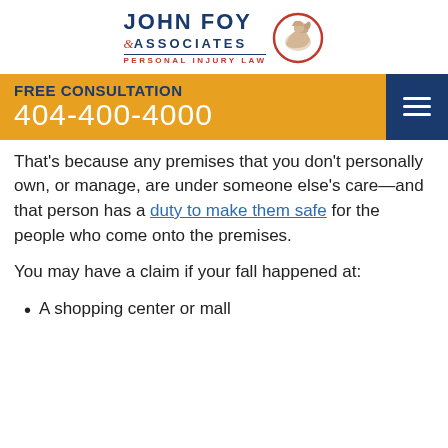[Figure (logo): John Foy & Associates Personal Injury Law logo with a flexing arm icon in a red circle]
FREE CONSULTATION
404-400-4000
That's because any premises that you don't personally own, or manage, are under someone else's care—and that person has a duty to make them safe for the people who come onto the premises.
You may have a claim if your fall happened at:
A shopping center or mall